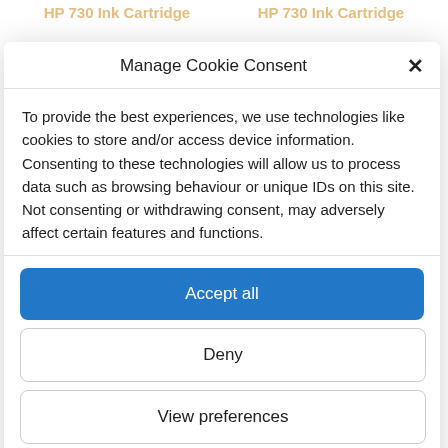HP 730 Ink Cartridge   HP 730 Ink Cartridge
Manage Cookie Consent
To provide the best experiences, we use technologies like cookies to store and/or access device information. Consenting to these technologies will allow us to process data such as browsing behaviour or unique IDs on this site. Not consenting or withdrawing consent, may adversely affect certain features and functions.
Accept all
Deny
View preferences
Cookie Policy   Privacy policy
HP 730 Ink Cartridge   HP 730 Ink Cartridge